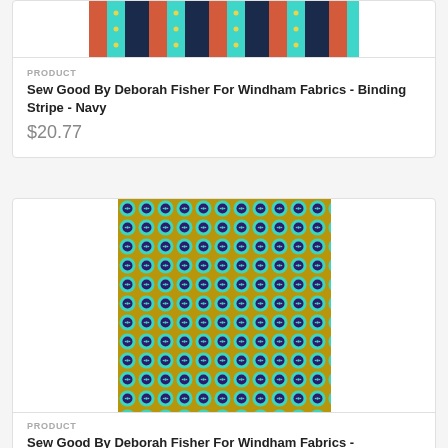[Figure (photo): Fabric swatch showing navy binding stripe pattern with coral, teal, and yellow dots]
PRODUCT
Sew Good By Deborah Fisher For Windham Fabrics - Binding Stripe - Navy
$20.77
[Figure (photo): Fabric swatch showing teal/turquoise buttons pattern on gold/tan background with dark purple circles]
PRODUCT
Sew Good By Deborah Fisher For Windham Fabrics -